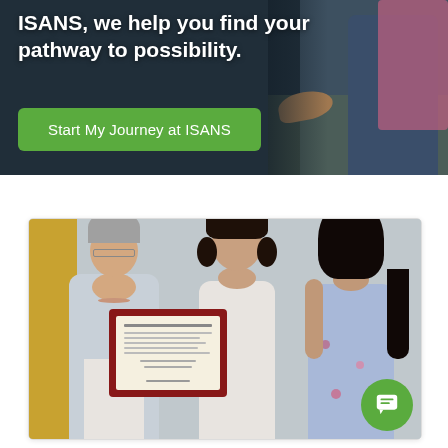[Figure (photo): Hero banner section with dark overlay showing a person in a blue suit. Text overlay reads 'ISANS, we help you find your pathway to possibility.' with a green call-to-action button 'Start My Journey at ISANS'.]
ISANS, we help you find your pathway to possibility.
Start My Journey at ISANS
[Figure (photo): Photo of three women standing together indoors. The woman on the left (older, grey hair, light cardigan) and the woman in the middle (dark curly hair, white lace top) are jointly holding a framed certificate/award. The woman on the right has long dark curly hair and is wearing a blue floral sleeveless dress. They appear to be at an award ceremony.]